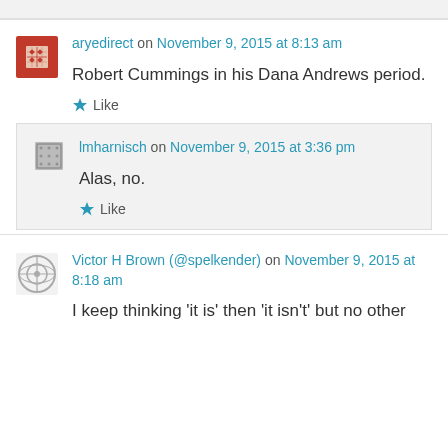aryedirect on November 9, 2015 at 8:13 am
Robert Cummings in his Dana Andrews period.
Like
lmharnisch on November 9, 2015 at 3:36 pm
Alas, no.
Like
Victor H Brown (@spelkender) on November 9, 2015 at 8:18 am
I keep thinking 'it is' then 'it isn't' but no other